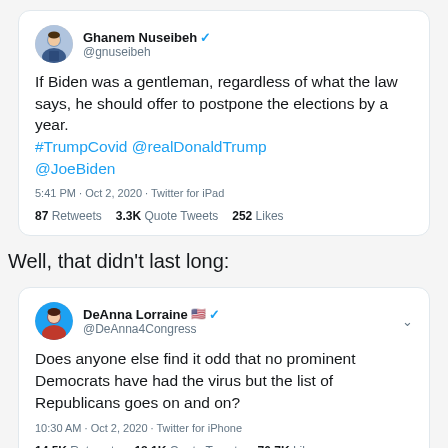[Figure (screenshot): Tweet by Ghanem Nuseibeh (@gnuseibeh): 'If Biden was a gentleman, regardless of what the law says, he should offer to postpone the elections by a year. #TrumpCovid @realDonaldTrump @JoeBiden' — 5:41 PM · Oct 2, 2020 · Twitter for iPad — 87 Retweets  3.3K Quote Tweets  252 Likes]
Well, that didn't last long:
[Figure (screenshot): Tweet by DeAnna Lorraine 🇺🇸 (@DeAnna4Congress): 'Does anyone else find it odd that no prominent Democrats have had the virus but the list of Republicans goes on and on?' — 10:30 AM · Oct 2, 2020 · Twitter for iPhone — 14.5K Retweets  18.1K Quote Tweets  70.7K Likes]